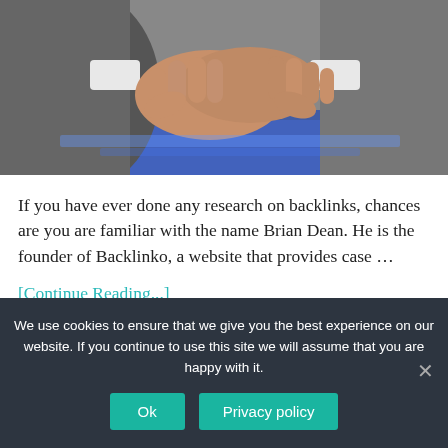[Figure (photo): Two people in business suits shaking hands against a blue background]
If you have ever done any research on backlinks, chances are you are familiar with the name Brian Dean. He is the founder of Backlinko, a website that provides case …
[Continue Reading...]
We use cookies to ensure that we give you the best experience on our website. If you continue to use this site we will assume that you are happy with it.
Ok
Privacy policy